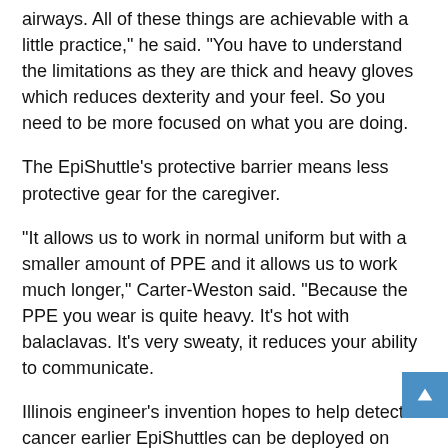airways. All of these things are achievable with a little practice," he said. "You have to understand the limitations as they are thick and heavy gloves which reduces dexterity and your feel. So you need to be more focused on what you are doing.
The EpiShuttle’s protective barrier means less protective gear for the caregiver.
“It allows us to work in normal uniform but with a smaller amount of PPE and it allows us to work much longer,” Carter-Weston said. “Because the PPE you wear is quite heavy. It’s hot with balaclavas. It’s very sweaty, it reduces your ability to communicate.
Illinois engineer’s invention hopes to help detect cancer earlier EpiShuttles can be deployed on land, in the air or at sea.
“The EpiShuttle can be one of those Covid success stories because we were able to get it into service and use it across the country,” Carter-Weston said. “Whereas normally it would take